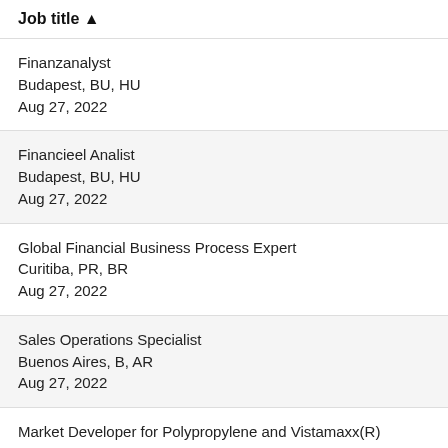| Job title ▲ |
| --- |
| Finanzanalyst
Budapest, BU, HU
Aug 27, 2022 |
| Financieel Analist
Budapest, BU, HU
Aug 27, 2022 |
| Global Financial Business Process Expert
Curitiba, PR, BR
Aug 27, 2022 |
| Sales Operations Specialist
Buenos Aires, B, AR
Aug 27, 2022 |
| Market Developer for Polypropylene and Vistamaxx(R)
Singapore, 01, SG |